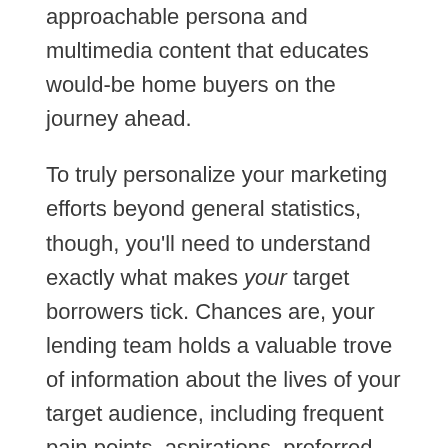approachable persona and multimedia content that educates would-be home buyers on the journey ahead.
To truly personalize your marketing efforts beyond general statistics, though, you'll need to understand exactly what makes your target borrowers tick. Chances are, your lending team holds a valuable trove of information about the lives of your target audience, including frequent pain points, aspirations, preferred loan products, persuasive messaging, and social networks of choice. The knowledge you hold about your customers is crucial to scaling your lending business efficiently. By using both quantitative and qualitative data about your borrowers, you'll ensure you put your effort into the correct channels and produce